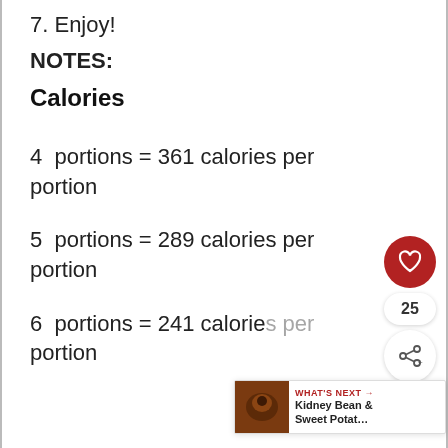7. Enjoy!
NOTES:
Calories
4 portions = 361 calories per portion
5 portions = 289 calories per portion
6 portions = 241 calories per portion